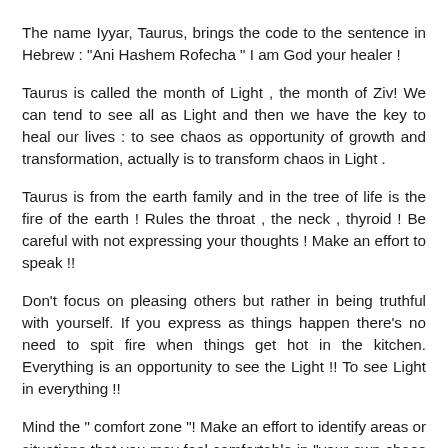The name Iyyar, Taurus, brings the code to the sentence in Hebrew : "Ani Hashem Rofecha " I am God your healer !
Taurus is called the month of Light , the month of Ziv! We can tend to see all as Light and then we have the key to heal our lives : to see chaos as opportunity of growth and transformation, actually is to transform chaos in Light .
Taurus is from the earth family and in the tree of life is the fire of the earth ! Rules the throat , the neck , thyroid ! Be careful with not expressing your thoughts ! Make an effort to speak !!
Don't focus on pleasing others but rather in being truthful with yourself. If you express as things happen there's no need to spit fire when things get hot in the kitchen. Everything is an opportunity to see the Light !! To see Light in everything !!
Mind the " comfort zone "! Make an effort to identify areas or situations that you may feel comfortable in "your own chaos "!